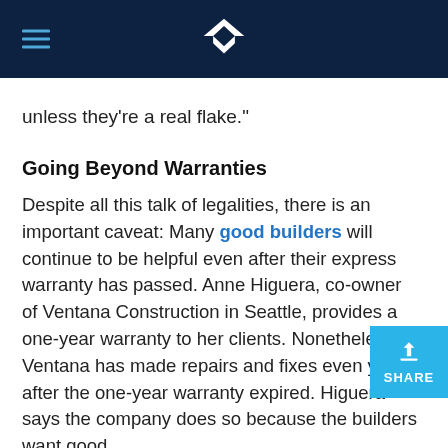[Logo header with hamburger menu and site logo]
unless they're a real flake."
Going Beyond Warranties
Despite all this talk of legalities, there is an important caveat: Many good builders will continue to be helpful even after their express warranty has passed. Anne Higuera, co-owner of Ventana Construction in Seattle, provides a one-year warranty to her clients. Nonetheless, Ventana has made repairs and fixes even years after the one-year warranty expired. Higuera says the company does so because the builders want good